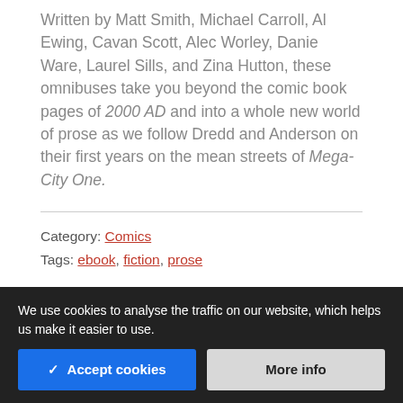Written by Matt Smith, Michael Carroll, Al Ewing, Cavan Scott, Alec Worley, Danie Ware, Laurel Sills, and Zina Hutton, these omnibuses take you beyond the comic book pages of 2000 AD and into a whole new world of prose as we follow Dredd and Anderson on their first years on the mean streets of Mega-City One.
Category: Comics
Tags: ebook, fiction, prose
Posted on 16th January 2020 by Michael Molcher
We use cookies to analyse the traffic on our website, which helps us make it easier to use.
✓ Accept cookies | More info